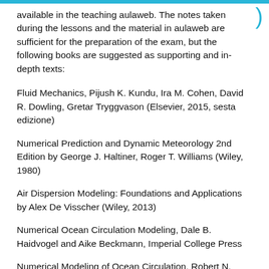available in the teaching aulaweb. The notes taken during the lessons and the material in aulaweb are sufficient for the preparation of the exam, but the following books are suggested as supporting and in-depth texts:
Fluid Mechanics, Pijush K. Kundu, Ira M. Cohen, David R. Dowling, Gretar Tryggvason (Elsevier, 2015, sesta edizione)
Numerical Prediction and Dynamic Meteorology 2nd Edition by George J. Haltiner, Roger T. Williams (Wiley, 1980)
Air Dispersion Modeling: Foundations and Applications by Alex De Visscher (Wiley, 2013)
Numerical Ocean Circulation Modeling, Dale B. Haidvogel and Aike Beckmann, Imperial College Press
Numerical Modeling of Ocean Circulation, Robert N.